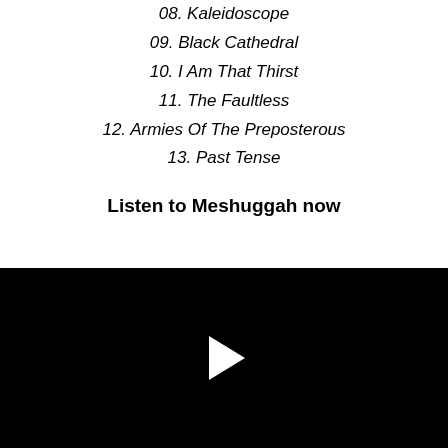08. Kaleidoscope
09. Black Cathedral
10. I Am That Thirst
11. The Faultless
12. Armies Of The Preposterous
13. Past Tense
Listen to Meshuggah now
[Figure (screenshot): Black video player area with a white play button triangle in the center]